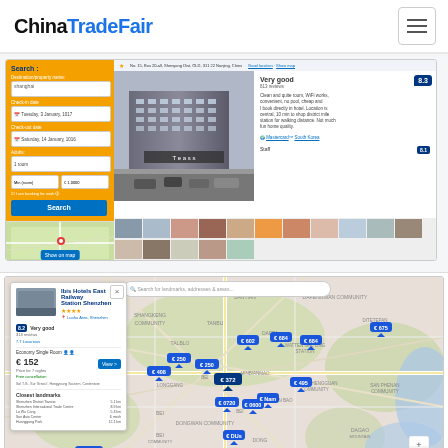ChinaTradeFair
[Figure (screenshot): Screenshot of a hotel booking website (Booking.com style) showing a search panel on the left with yellow background and search form fields, a hotel photo of a multi-story building in the center, hotel rating 'Very good 8.3' and review text on the right, and a photo thumbnail strip at the bottom.]
[Figure (map): Interactive map of Shenzhen/Guangdong area showing hotel location markers (blue pins) with prices, a hotel detail popup panel on the left showing 'Ibis Hotel East Railway Station Shenzhen' rated 'Very good 8.2', Economy Single Room at € 152, and Closest landmarks including Shenzhen District Tianxia, Shenzhen International Trade Centre, Lo Wu Cang, Sun Asia Center, Huanggang Park.]